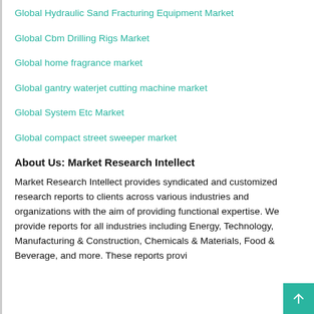Global Hydraulic Sand Fracturing Equipment Market
Global Cbm Drilling Rigs Market
Global home fragrance market
Global gantry waterjet cutting machine market
Global System Etc Market
Global compact street sweeper market
About Us: Market Research Intellect
Market Research Intellect provides syndicated and customized research reports to clients across various industries and organizations with the aim of providing functional expertise. We provide reports for all industries including Energy, Technology, Manufacturing & Construction, Chemicals & Materials, Food & Beverage, and more. These reports provi…